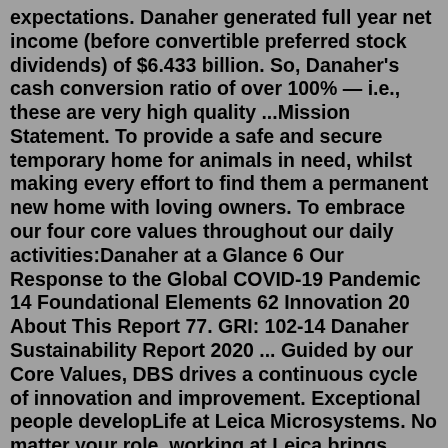expectations. Danaher generated full year net income (before convertible preferred stock dividends) of $6.433 billion. So, Danaher's cash conversion ratio of over 100% — i.e., these are very high quality ...Mission Statement. To provide a safe and secure temporary home for animals in need, whilst making every effort to find them a permanent new home with loving owners. To embrace our four core values throughout our daily activities:Danaher at a Glance 6 Our Response to the Global COVID-19 Pandemic 14 Foundational Elements 62 Innovation 20 About This Report 77. GRI: 102-14 Danaher Sustainability Report 2020 ... Guided by our Core Values, DBS drives a continuous cycle of innovation and improvement. Exceptional people developLife at Leica Microsystems. No matter your role, working at Leica brings purpose and challenge every day. Being a global leader in its market segments, Leica is an outstanding medium-sized company with worldwide locations and career opportunities. Take a look how we advance science and healthcare in our fields of